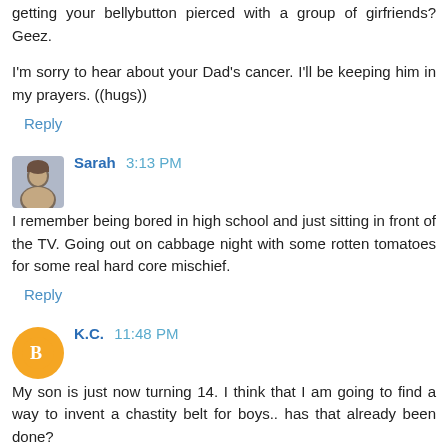getting your bellybutton pierced with a group of girfriends? Geez.
I'm sorry to hear about your Dad's cancer. I'll be keeping him in my prayers. ((hugs))
Reply
Sarah 3:13 PM
I remember being bored in high school and just sitting in front of the TV. Going out on cabbage night with some rotten tomatoes for some real hard core mischief.
Reply
K.C. 11:48 PM
My son is just now turning 14. I think that I am going to find a way to invent a chastity belt for boys.. has that already been done?
Did I miss the boat on that one..